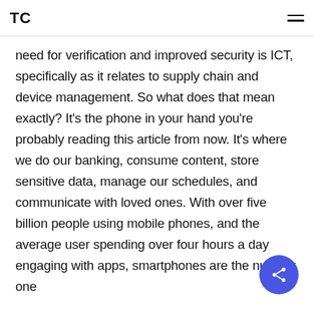TC
need for verification and improved security is ICT, specifically as it relates to supply chain and device management. So what does that mean exactly? It's the phone in your hand you're probably reading this article from now. It's where we do our banking, consume content, store sensitive data, manage our schedules, and communicate with loved ones. With over five billion people using mobile phones, and the average user spending over four hours a day engaging with apps, smartphones are the number one